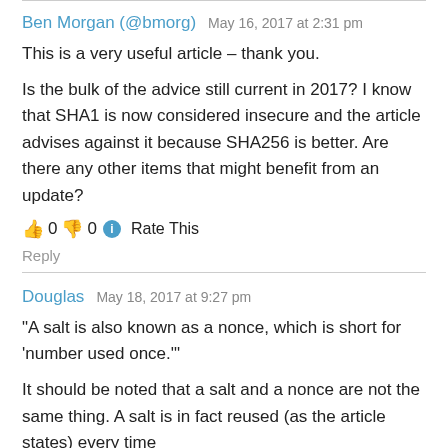Ben Morgan (@bmorg)   May 16, 2017 at 2:31 pm
This is a very useful article – thank you.
Is the bulk of the advice still current in 2017? I know that SHA1 is now considered insecure and the article advises against it because SHA256 is better. Are there any other items that might benefit from an update?
👍 0 👎 0 ℹ Rate This
Reply
Douglas   May 18, 2017 at 9:27 pm
"A salt is also known as a nonce, which is short for 'number used once.'"
It should be noted that a salt and a nonce are not the same thing. A salt is in fact reused (as the article states) every time